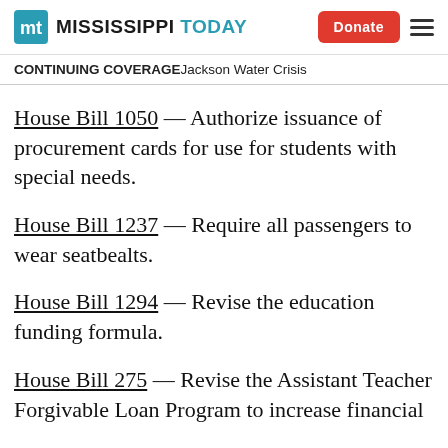Mississippi Today — Donate
CONTINUING COVERAGE  Jackson Water Crisis
House Bill 1050 — Authorize issuance of procurement cards for use for students with special needs.
House Bill 1237 — Require all passengers to wear seatbealts.
House Bill 1294 — Revise the education funding formula.
House Bill 275 — Revise the Assistant Teacher Forgivable Loan Program to increase financial